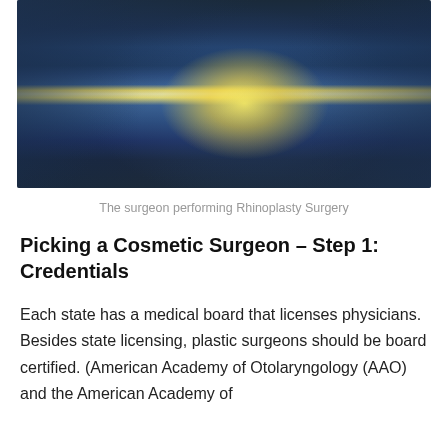[Figure (photo): A surgeon performing Rhinoplasty Surgery, hands working on a patient under bright surgical lighting against a dark blue background]
The surgeon performing Rhinoplasty Surgery
Picking a Cosmetic Surgeon – Step 1: Credentials
Each state has a medical board that licenses physicians. Besides state licensing, plastic surgeons should be board certified. (American Academy of Otolaryngology (AAO) and the American Academy of